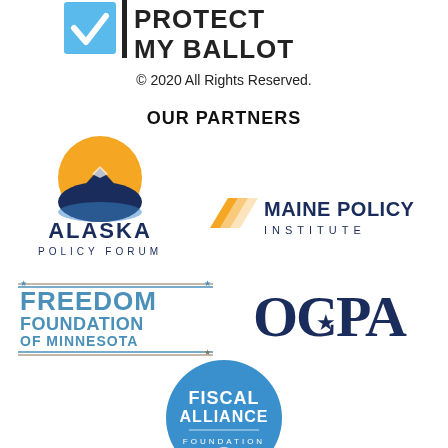[Figure (logo): Protect My Ballot logo with blue checkbox icon and bold black text reading PROTECT MY BALLOT]
© 2020 All Rights Reserved.
OUR PARTNERS
[Figure (logo): Alaska Policy Forum logo with mountain/sun circle graphic and text ALASKA POLICY FORUM]
[Figure (logo): Maine Policy Institute logo with yellow arrow graphic and text MAINE POLICY INSTITUTE]
[Figure (logo): Freedom Foundation of Minnesota logo with star and horizontal lines, blue and gold text]
[Figure (logo): OCPA logo in dark blue serif font with a star replacing the C]
[Figure (logo): Fiscal Alliance Foundation logo, circular blue badge with white text]